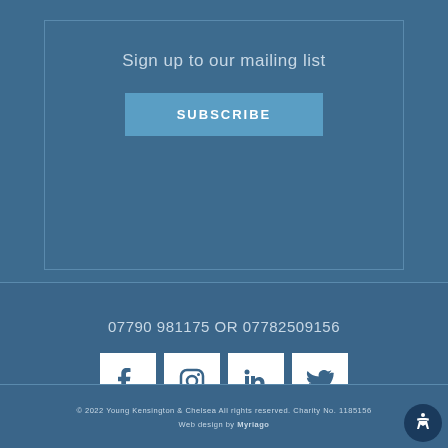Sign up to our mailing list
SUBSCRIBE
07790 981175 OR 07782509156
[Figure (illustration): Social media icons: Facebook, Instagram, LinkedIn, Twitter in white square boxes]
© 2022 Young Kensington & Chelsea All rights reserved. Charity No. 1185156 Web design by Myriago